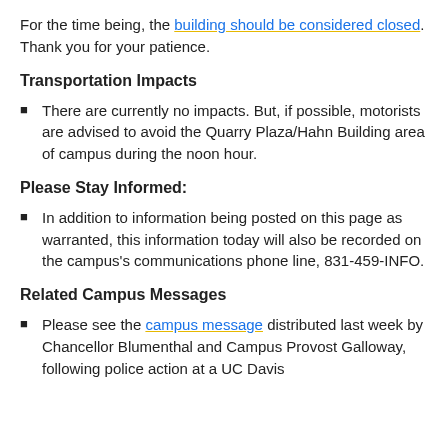For the time being, the building should be considered closed. Thank you for your patience.
Transportation Impacts
There are currently no impacts. But, if possible, motorists are advised to avoid the Quarry Plaza/Hahn Building area of campus during the noon hour.
Please Stay Informed:
In addition to information being posted on this page as warranted, this information today will also be recorded on the campus's communications phone line, 831-459-INFO.
Related Campus Messages
Please see the campus message distributed last week by Chancellor Blumenthal and Campus Provost Galloway, following police action at a UC Davis